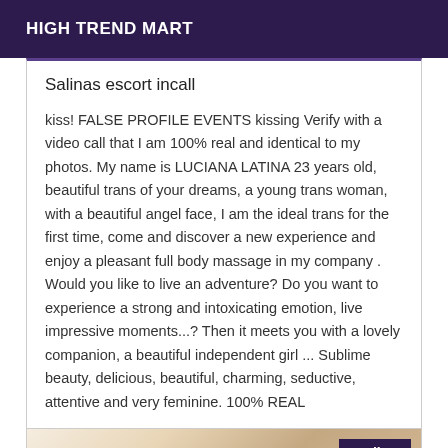HIGH TREND MART
Salinas escort incall
kiss! FALSE PROFILE EVENTS kissing Verify with a video call that I am 100% real and identical to my photos. My name is LUCIANA LATINA 23 years old, beautiful trans of your dreams, a young trans woman, with a beautiful angel face, I am the ideal trans for the first time, come and discover a new experience and enjoy a pleasant full body massage in my company . Would you like to live an adventure? Do you want to experience a strong and intoxicating emotion, live impressive moments...? Then it meets you with a lovely companion, a beautiful independent girl ... Sublime beauty, delicious, beautiful, charming, seductive, attentive and very feminine. 100% REAL
[Figure (photo): Photo of a person with blonde hair, partially visible, with an Online badge overlay in dark purple]